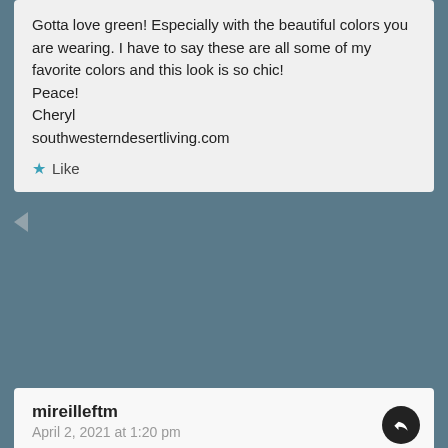Gotta love green! Especially with the beautiful colors you are wearing. I have to say these are all some of my favorite colors and this look is so chic!
Peace!
Cheryl
southwesterndesertliving.com
Like
Lucy Bertoldi
April 8, 2021 at 1:02 pm
Thank you Cheryl- I agree!!
Like
mireilleftm
April 2, 2021 at 1:20 pm